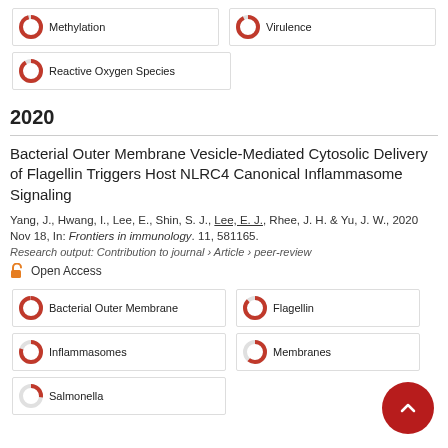Methylation
Virulence
Reactive Oxygen Species
2020
Bacterial Outer Membrane Vesicle-Mediated Cytosolic Delivery of Flagellin Triggers Host NLRC4 Canonical Inflammasome Signaling
Yang, J., Hwang, I., Lee, E., Shin, S. J., Lee, E. J., Rhee, J. H. & Yu, J. W., 2020 Nov 18, In: Frontiers in immunology. 11, 581165.
Research output: Contribution to journal › Article › peer-review
Open Access
Bacterial Outer Membrane
Flagellin
Inflammasomes
Membranes
Salmonella